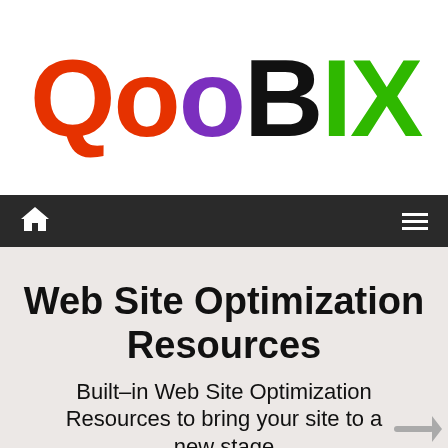[Figure (logo): QOOBIX logo with Q and first O in orange/red, second O in purple, B in black, IX in green, large bold stylized letters]
Navigation bar with home icon and hamburger menu icon
Web Site Optimization Resources
Built–in Web Site Optimization Resources to bring your site to a new stage
This website will install cookies. By continuing to browse the website you are agreeing to download our cookies. Find out more about this here.